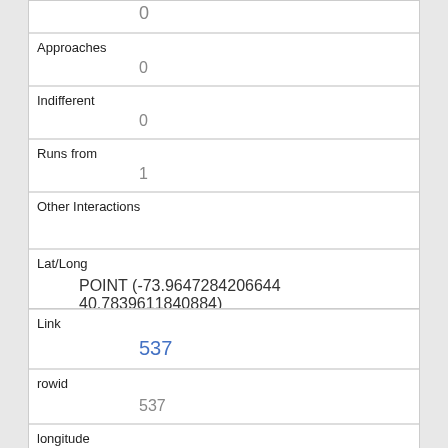| Field | Value |
| --- | --- |
|  | 0 |
| Approaches | 0 |
| Indifferent | 0 |
| Runs from | 1 |
| Other Interactions |  |
| Lat/Long | POINT (-73.9647284206644 40.7839611840884) |
| Field | Value |
| --- | --- |
| Link | 537 |
| rowid | 537 |
| longitude | -73.9682803241007 |
| latitude | 40.772451055832704 |